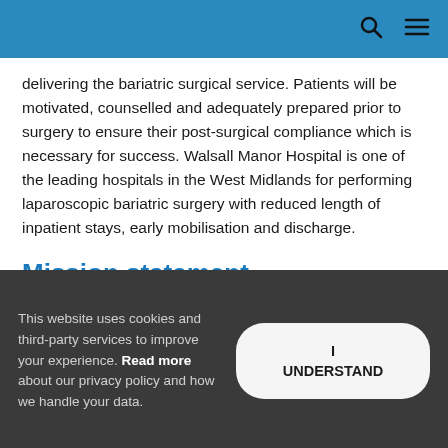delivering the bariatric surgical service. Patients will be motivated, counselled and adequately prepared prior to surgery to ensure their post-surgical compliance which is necessary for success. Walsall Manor Hospital is one of the leading hospitals in the West Midlands for performing laparoscopic bariatric surgery with reduced length of inpatient stays, early mobilisation and discharge.
Mission statement
This website uses cookies and third-party services to improve your experience. Read more about our privacy policy and how we handle your data.
I UNDERSTAND